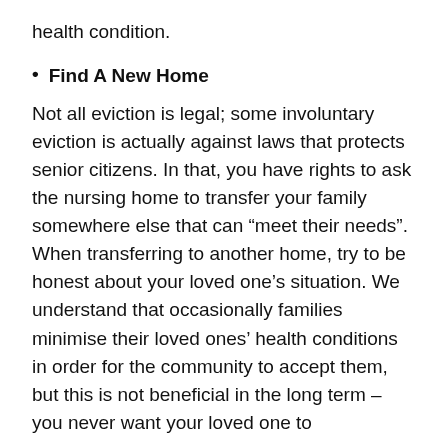health condition.
Find A New Home
Not all eviction is legal; some involuntary eviction is actually against laws that protects senior citizens. In that, you have rights to ask the nursing home to transfer your family somewhere else that can “meet their needs”. When transferring to another home, try to be honest about your loved one’s situation. We understand that occasionally families minimise their loved ones’ health conditions in order for the community to accept them, but this is not beneficial in the long term – you never want your loved one to